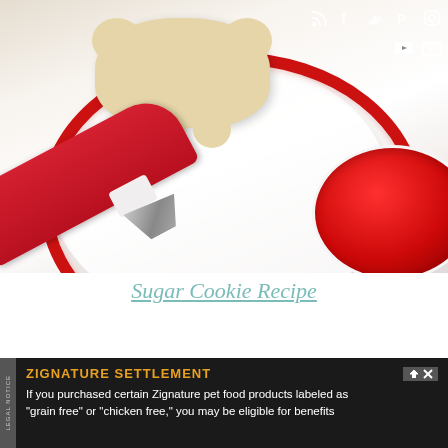[Figure (photo): Close-up photo of sugar cookie decorating: a bear/snowman-shaped sugar cookie on a white plate with red rim, a red piping bag with metal tip, and a bowl of red sugar sprinkles. Social media icons (RSS, Facebook, Twitter, Pinterest, Instagram, YouTube, email) visible in top-right corner overlay.]
Sugar Cookie Recipe
[Figure (other): Advertisement banner: ZIGNATURE SETTLEMENT - If you purchased certain Zignature pet food products labeled as 'grain free' or 'chicken free,' you may be eligible for benefits]